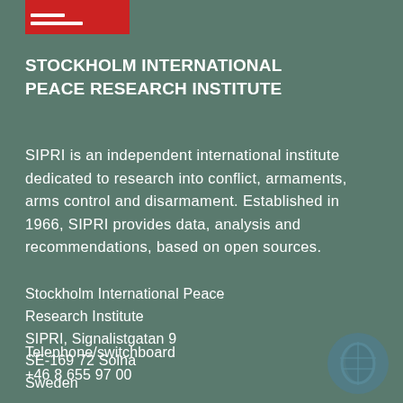[Figure (logo): SIPRI logo — red rectangle with two white horizontal lines]
STOCKHOLM INTERNATIONAL PEACE RESEARCH INSTITUTE
SIPRI is an independent international institute dedicated to research into conflict, armaments, arms control and disarmament. Established in 1966, SIPRI provides data, analysis and recommendations, based on open sources.
Stockholm International Peace Research Institute
SIPRI, Signalistgatan 9
SE-169 72 Solna
Sweden
Telephone/switchboard
+46 8 655 97 00
[Figure (logo): SIPRI circular watermark logo in blue, bottom right corner]